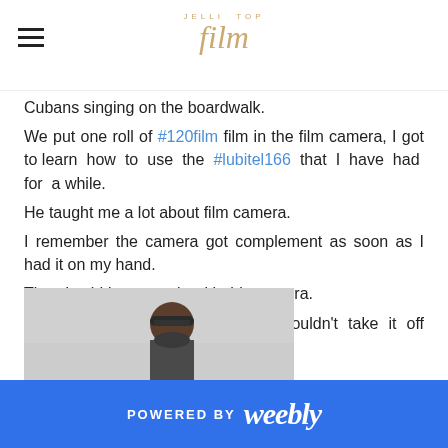JELLI TOP film
Cubans singing on the boardwalk.
We put one roll of #120film film in the film camera, I got to learn how to use the #lubitel166 that I have had for a while.
He taught me a lot about film camera.
I remember the camera got complement as soon as I had it on my hand.
Then I said I want a pic with this camera.
He made fun of me said that I couldn't take it off because I am caring it for style.
[Figure (photo): Person photographed from behind wearing a cap, light/grey background]
POWERED BY weebly